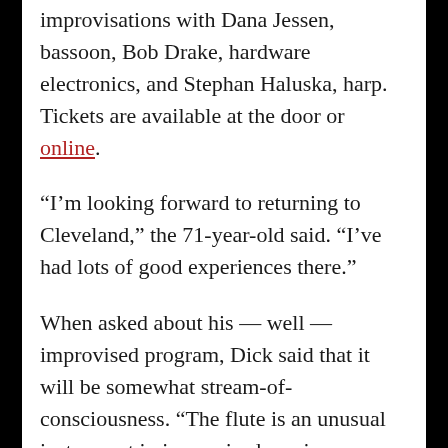improvisations with Dana Jessen, bassoon, Bob Drake, hardware electronics, and Stephan Haluska, harp. Tickets are available at the door or online.
“I’m looking forward to returning to Cleveland,” the 71-year-old said. “I’ve had lots of good experiences there.”
When asked about his — well — improvised program, Dick said that it will be somewhat stream-of-consciousness. “The flute is an unusual instrument in improvised music, so people tend to focus on the instrument and not the music. But all instruments have exactly the same